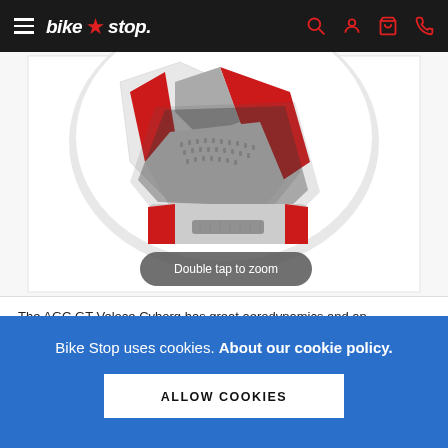bike stop — navigation bar with hamburger menu and icons
[Figure (photo): Close-up of a white, red and grey motorcycle helmet (AGC GT Veloce Cyborg) with 'Double tap to zoom' tooltip overlay]
The AGC GT Veloce Cyborg has great aerodynamics and an
Bike Stop uses cookies. About our cookie policy.
ALLOW COOKIES
READ MORE
OUT OF STOCK
View sizing guide